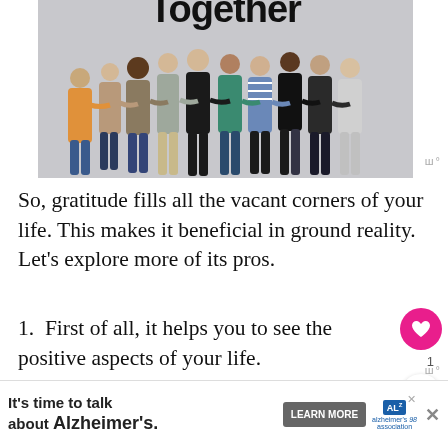[Figure (photo): Group of people standing with arms around each other, seen from behind, against a light grey background. Word 'Together' visible at top.]
So, gratitude fills all the vacant corners of your life. This makes it beneficial in ground reality. Let's explore more of its pros.
1. First of all, it helps you to see the positive aspects of your life.
2. It helps to put down the negative thought
[Figure (infographic): Advertisement banner: 'It's time to talk about Alzheimer's.' with LEARN MORE button and Alzheimer's Association logo.]